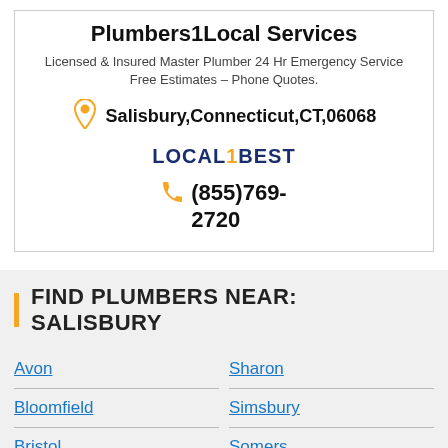Plumbers1Local Services
Licensed & Insured Master Plumber 24 Hr Emergency Service Free Estimates – Phone Quotes.
Salisbury,Connecticut,CT,06068
[Figure (logo): LOCAL1BEST logo in dark navy blue with an orange colored dot/number between LOCAL and BEST]
(855)769-2720
FIND PLUMBERS NEAR: SALISBURY
Avon
Sharon
Bloomfield
Simsbury
Bristol
Somers
Burlington
South glastonbur
Windsorville
South windsor